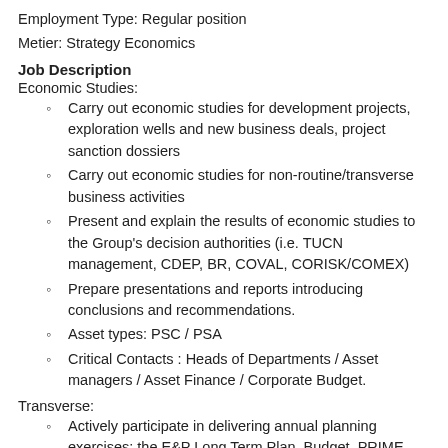Employment Type: Regular position
Metier: Strategy Economics
Job Description
Economic Studies:
Carry out economic studies for development projects, exploration wells and new business deals, project sanction dossiers
Carry out economic studies for non-routine/transverse business activities
Present and explain the results of economic studies to the Group's decision authorities (i.e. TUCN management, CDEP, BR, COVAL, CORISK/COMEX)
Prepare presentations and reports introducing conclusions and recommendations.
Asset types: PSC / PSA
Critical Contacts : Heads of Departments / Asset managers / Asset Finance / Corporate Budget.
Transverse:
Actively participate in delivering annual planning exercises: the E&P Long Term Plan, Budget, PRIME reserves calculation, Exploration & Appraisal budget, ASC932 Cash